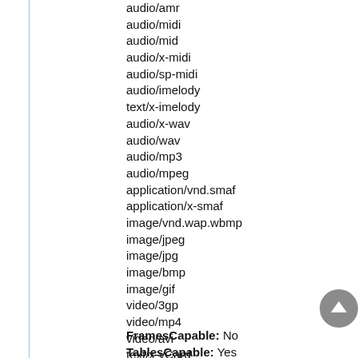audio/amr
audio/midi
audio/mid
audio/x-midi
audio/sp-midi
audio/imelody
text/x-imelody
audio/x-wav
audio/wav
audio/mp3
audio/mpeg
application/vnd.smaf
application/x-smaf
image/vnd.wap.wbmp
image/jpeg
image/jpg
image/bmp
image/gif
video/3gp
video/mp4
video/avi
text/x-vCard
text/x-vCalendar
FramesCapable: No
TablesCapable: Yes